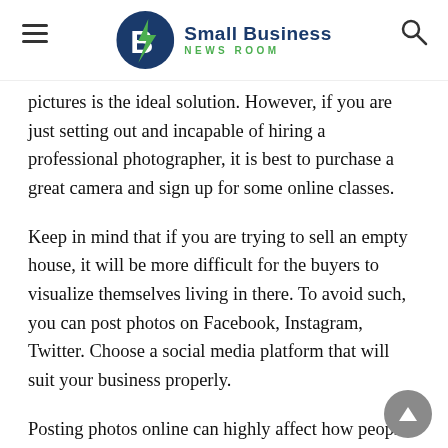Small Business NEWS ROOM
pictures is the ideal solution. However, if you are just setting out and incapable of hiring a professional photographer, it is best to purchase a great camera and sign up for some online classes.
Keep in mind that if you are trying to sell an empty house, it will be more difficult for the buyers to visualize themselves living in there. To avoid such, you can post photos on Facebook, Instagram, Twitter. Choose a social media platform that will suit your business properly.
Posting photos online can highly affect how people will react to your business. Photography plays a big role in